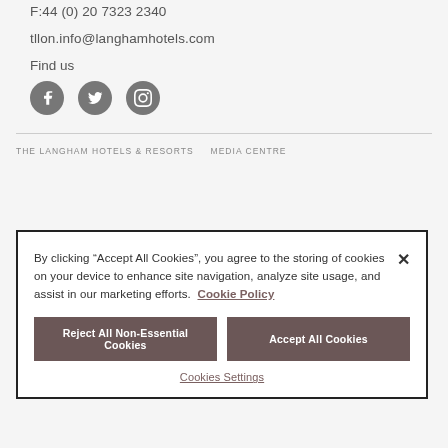F:44 (0) 20 7323 2340
tllon.info@langhamhotels.com
Find us
[Figure (other): Three social media icons: Facebook, Twitter, Instagram]
THE LANGHAM HOTELS & RESORTS   MEDIA CENTRE
By clicking “Accept All Cookies”, you agree to the storing of cookies on your device to enhance site navigation, analyze site usage, and assist in our marketing efforts. Cookie Policy
Reject All Non-Essential Cookies
Accept All Cookies
Cookies Settings